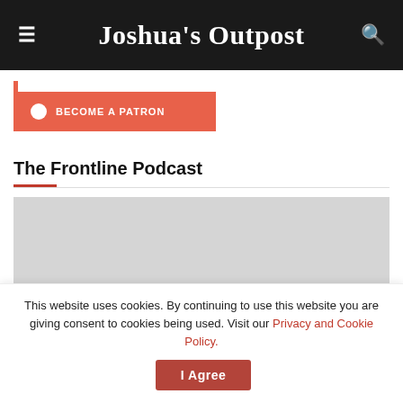Joshua's Outpost
[Figure (other): Patreon banner button with circle icon and text 'BECOME A PATRON' on salmon/red background]
The Frontline Podcast
[Figure (other): Placeholder grey image area for podcast content]
This website uses cookies. By continuing to use this website you are giving consent to cookies being used. Visit our Privacy and Cookie Policy.